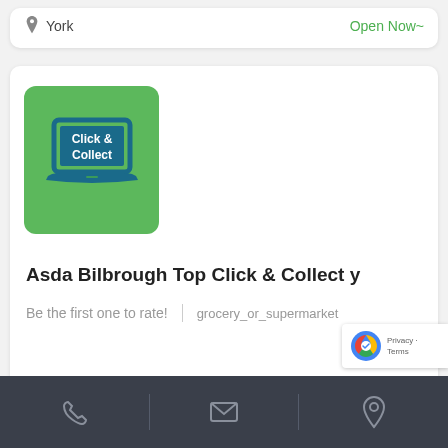York
Open Now~
[Figure (logo): Asda Click & Collect logo on green background with laptop icon showing 'Click & Collect' text]
Asda Bilbrough Top Click & Collect y
Be the first one to rate!
grocery_or_supermarket
York
Open Now~
Phone | Email | Location icons